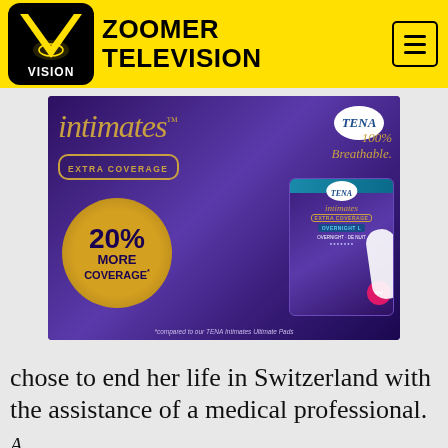ZOOMER TELEVISION
[Figure (photo): TENA Intimates Extra Coverage product advertisement. Purple background with gold script 'intimates' text, 'EXTRA COVERAGE' badge, '20% MORE COVERAGE*' gold circle, 'TENA' logo, '100% Breathable.' text, and a product package on the right. Footnote: *compared to our TENA Intimates Ultimate Pads]
chose to end her life in Switzerland with the assistance of a medical professional.
A d...